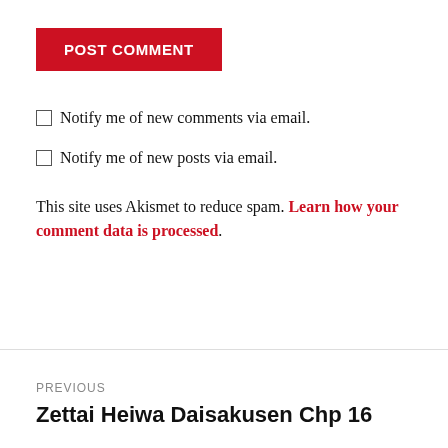POST COMMENT
Notify me of new comments via email.
Notify me of new posts via email.
This site uses Akismet to reduce spam. Learn how your comment data is processed.
PREVIOUS
Zettai Heiwa Daisakusen Chp 16